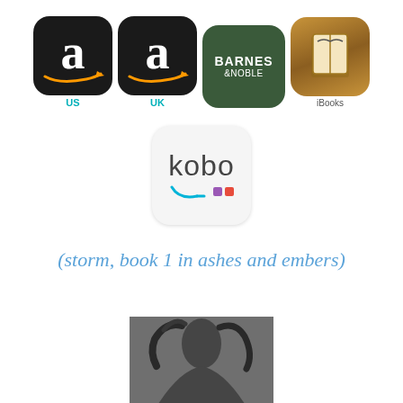[Figure (logo): Four retailer icons in a row: Amazon US (black rounded square with 'a' and orange arrow, cyan 'US' label), Amazon UK (same style with cyan 'UK' label), Barnes & Noble (dark green rounded square with white text 'BARNES & NOBLE'), iBooks (wood-grain brown rounded square with open book icon and 'iBooks' label)]
[Figure (logo): Kobo retailer icon: white/light gray rounded square with 'kobo' text, teal checkmark swoosh, and two colored squares (purple and red)]
(storm, book 1 in ashes and embers)
[Figure (photo): Black and white photo of a person with long dark hair, wind-blown, appearing to be a fantasy/romance book cover figure]